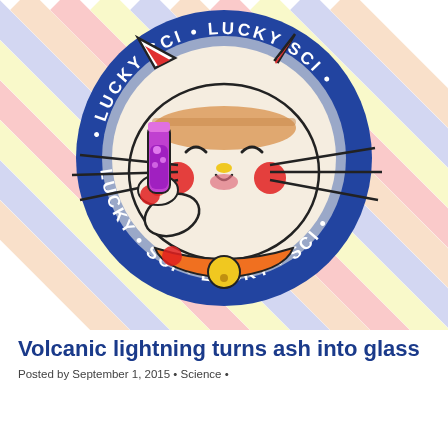[Figure (logo): Lucky Sci logo: a maneki-neko (lucky cat) holding a purple test tube, inside a circular blue badge with 'LUCKY SCI' text repeated around the border, on a colorful diagonal striped background.]
Volcanic lightning turns ash into glass
Posted by September 1, 2015 • Science •